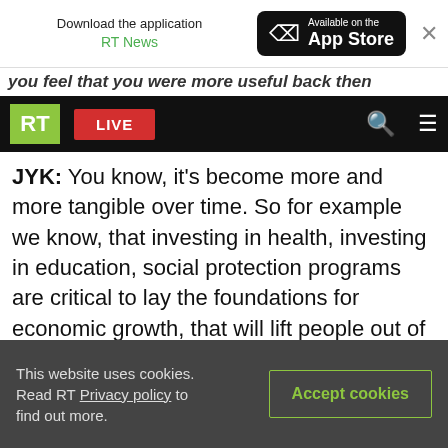Download the application RT News | Available on the App Store
RT LIVE
you feel that you were more useful back then
JYK: You know, it's become more and more tangible over time. So for example we know, that investing in health, investing in education, social protection programs are critical to lay the foundations for economic growth, that will lift people out of poverty. And the other thing we know is that every country in the world should know to grow its private sector and this is a real issue here in Russia. President Putin has said he wants to improve his business climate and wants to move
This website uses cookies. Read RT Privacy policy to find out more. Accept cookies